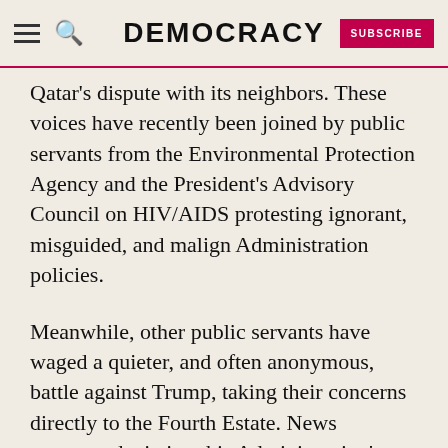DEMOCRACY  SUBSCRIBE
Qatar's dispute with its neighbors. These voices have recently been joined by public servants from the Environmental Protection Agency and the President's Advisory Council on HIV/AIDS protesting ignorant, misguided, and malign Administration policies.
Meanwhile, other public servants have waged a quieter, and often anonymous, battle against Trump, taking their concerns directly to the Fourth Estate. News accounts depicting this Administration's mismanagement, negligence, and corruption have been striking for their reference to dozens of Administration sources. Virtually no Executive Branch department has been spared this